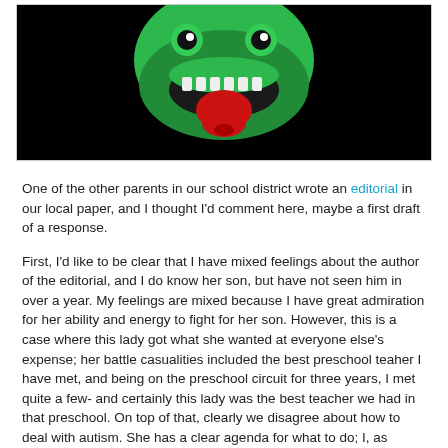[Figure (illustration): A green cartoon creature/monster with open mouth showing white teeth and a red tongue sticking out, against a black background.]
One of the other parents in our school district wrote an editorial in our local paper, and I thought I'd comment here, maybe a first draft of a response.
First, I'd like to be clear that I have mixed feelings about the author of the editorial, and I do know her son, but have not seen him in over a year. My feelings are mixed because I have great admiration for her ability and energy to fight for her son. However, this is a case where this lady got what she wanted at everyone else's expense; her battle casualities included the best preschool teaher I have met, and being on the preschool circuit for three years, I met quite a few- and certainly this lady was the best teacher we had in that preschool. On top of that, clearly we disagree about how to deal with autism. She has a clear agenda for what to do; I, as usual, believe in individualization.